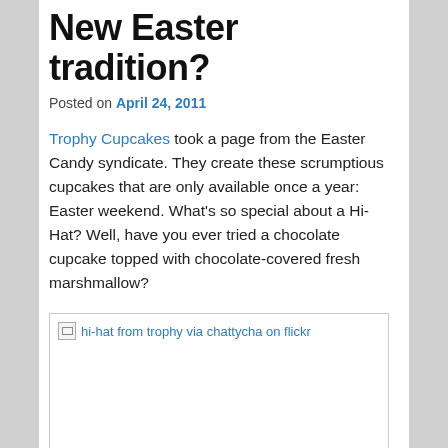New Easter tradition?
Posted on April 24, 2011
Trophy Cupcakes took a page from the Easter Candy syndicate. They create these scrumptious cupcakes that are only available once a year: Easter weekend. What's so special about a Hi-Hat? Well, have you ever tried a chocolate cupcake topped with chocolate-covered fresh marshmallow?
[Figure (photo): Image placeholder showing 'hi-hat from trophy via chattycha on flickr' with broken image icon]